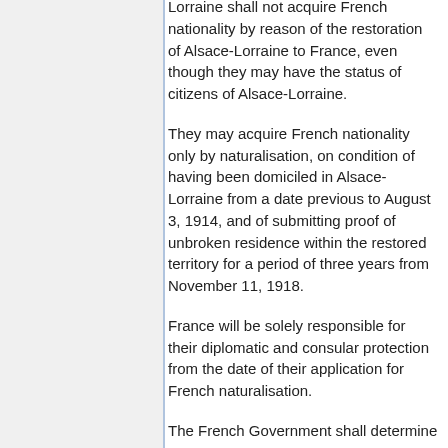Lorraine shall not acquire French nationality by reason of the restoration of Alsace-Lorraine to France, even though they may have the status of citizens of Alsace-Lorraine.
They may acquire French nationality only by naturalisation, on condition of having been domiciled in Alsace-Lorraine from a date previous to August 3, 1914, and of submitting proof of unbroken residence within the restored territory for a period of three years from November 11, 1918.
France will be solely responsible for their diplomatic and consular protection from the date of their application for French naturalisation.
The French Government shall determine